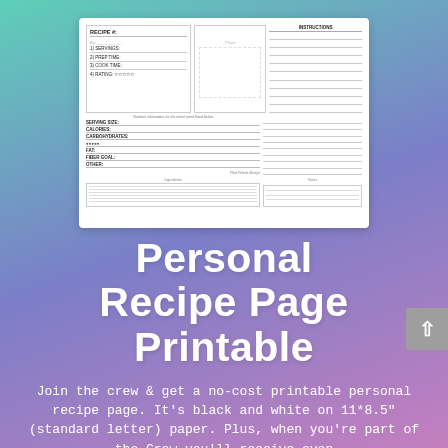[Figure (illustration): A preview of a black and white personal recipe page printable, showing sections for recipe name, photo, ingredients, directions, nutrition info, and notes.]
Personal Recipe Page Printable
Join the crew & get a no-cost printable personal recipe page. It's black and white on 11*8.5" (standard letter) paper. Plus, when you're part of the Crew you'll receive even